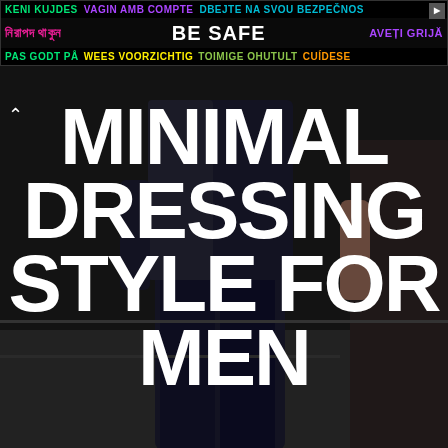[Figure (infographic): Ad banner at top with multilingual 'be safe' message in various colors on dark background, with a play button icon on the right. Rows of text: Row 1: KENI KUJDES (green), VAGIN AMB COMPTE (purple), DBEJTE NA SVOU BEZPEČNOS (cyan). Row 2: নিরাপদ থাকুন (magenta/green), BE SAFE (white bold large), AVEȚI GRIJĂ (purple). Row 3: PAS GODT PÅ (green), WEES VOORZICHTIG (yellow), TOIMIGE OHUTULT (lime), CUÍDESE (orange).]
[Figure (photo): Dark background photo of a person in dark clothing (dark navy trousers and jacket) walking, seen from behind or side, with another figure visible to the right. Urban/outdoor setting.]
MINIMAL DRESSING STYLE FOR MEN